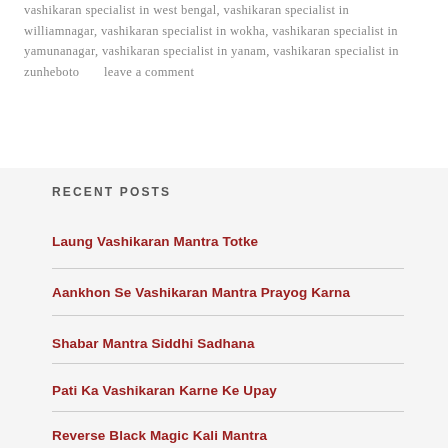vashikaran specialist in west bengal, vashikaran specialist in williamnagar, vashikaran specialist in wokha, vashikaran specialist in yamunanagar, vashikaran specialist in yanam, vashikaran specialist in zunheboto      leave a comment
RECENT POSTS
Laung Vashikaran Mantra Totke
Aankhon Se Vashikaran Mantra Prayog Karna
Shabar Mantra Siddhi Sadhana
Pati Ka Vashikaran Karne Ke Upay
Reverse Black Magic Kali Mantra